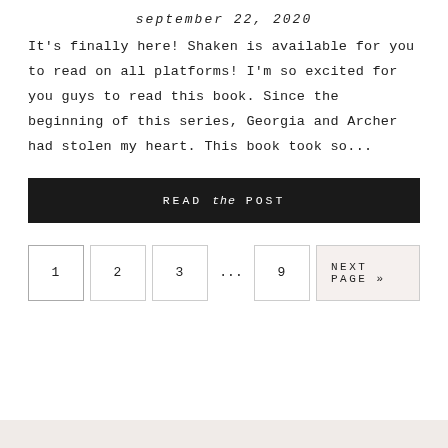september 22, 2020
It's finally here! Shaken is available for you to read on all platforms! I'm so excited for you guys to read this book. Since the beginning of this series, Georgia and Archer had stolen my heart. This book took so...
READ the POST
1  2  3  ...  9  NEXT PAGE »